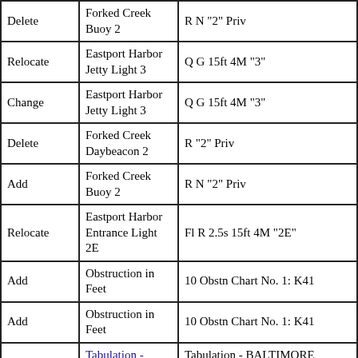| Delete | Forked Creek Buoy 2 | R N "2" Priv |
| Relocate | Eastport Harbor Jetty Light 3 | Q G 15ft 4M "3" |
| Change | Eastport Harbor Jetty Light 3 | Q G 15ft 4M "3" |
| Delete | Forked Creek Daybeacon 2 | R "2" Priv |
| Add | Forked Creek Buoy 2 | R N "2" Priv |
| Relocate | Eastport Harbor Entrance Light 2E | Fl R 2.5s 15ft 4M "2E" |
| Add | Obstruction in Feet | 10 Obstn Chart No. 1: K41 |
| Add | Obstruction in Feet | 10 Obstn Chart No. 1: K41 |
|  | Tabulation - BALTIMORE | Tabulation - BALTIMORE HARBOR |